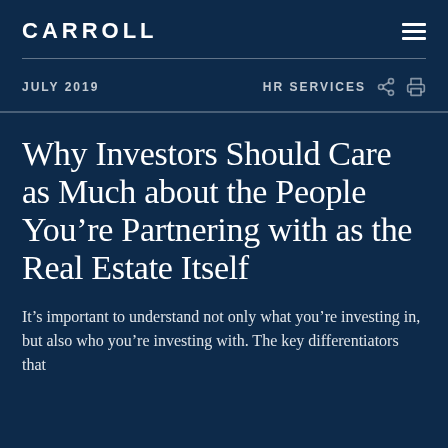CARROLL
JULY 2019
HR SERVICES
Why Investors Should Care as Much about the People You're Partnering with as the Real Estate Itself
It's important to understand not only what you're investing in, but also who you're investing with. The key differentiators that